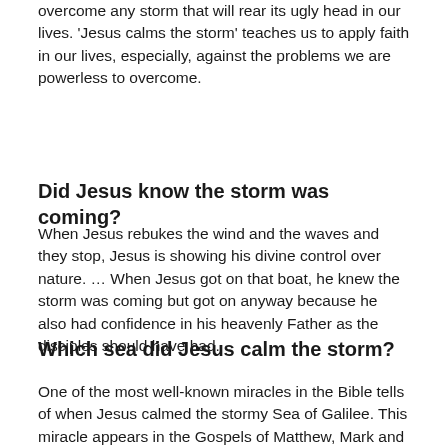overcome any storm that will rear its ugly head in our lives. 'Jesus calms the storm' teaches us to apply faith in our lives, especially, against the problems we are powerless to overcome.
Did Jesus know the storm was coming?
When Jesus rebukes the wind and the waves and they stop, Jesus is showing his divine control over nature. … When Jesus got on that boat, he knew the storm was coming but got on anyway because he also had confidence in his heavenly Father as the disciples should have had.
Which sea did Jesus calm the storm?
One of the most well-known miracles in the Bible tells of when Jesus calmed the stormy Sea of Galilee. This miracle appears in the Gospels of Matthew, Mark and Luke.